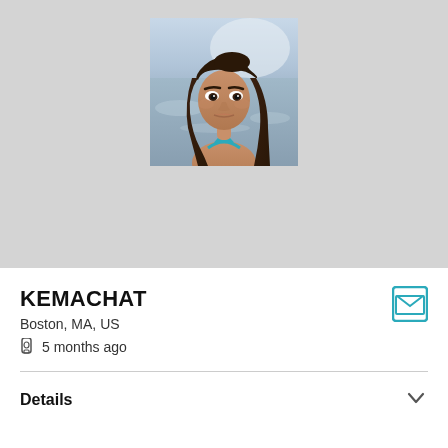[Figure (photo): Profile photo of a young woman with long dark hair wearing a teal/cyan bikini top, photographed outdoors near water with a bokeh background]
KEMACHAT
Boston, MA, US
5 months ago
Details